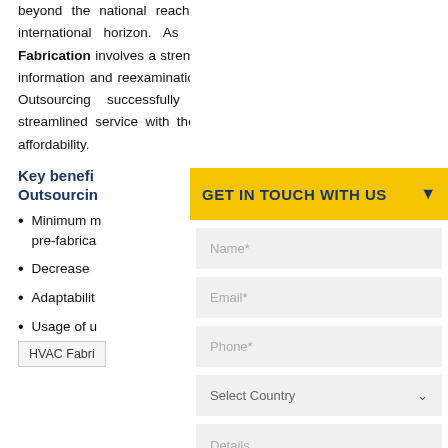beyond the national reach and also formed itself into international horizon. As BIM Fabrication and Pre-Fabrication involves a strenuous process of synchronizing information and reexamination. In spite it is arduous, CAD Outsourcing successfully provide a proficient and streamlined service with the best quality, efficiency, and affordability.
Key benefits of CAD Outsourcing
Minimum man-hours in fabrication and pre-fabrication
Decreased cost
Adaptability
Usage of updated technology
Top-notch quality
HVAC Fabri...
GET IN TOUCH WITH US
Name*
Email*
Phone*
Select Country
Details